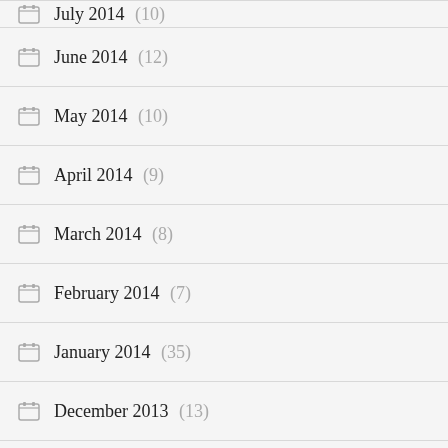July 2014 (10)
June 2014 (12)
May 2014 (10)
April 2014 (9)
March 2014 (8)
February 2014 (7)
January 2014 (35)
December 2013 (13)
November 2013 (12)
October 2013 (8)